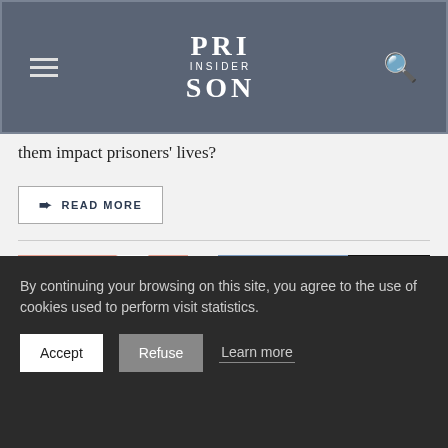PRISON INSIDER
them impact prisoners' lives?
READ MORE
[Figure (illustration): Abstract microscopic cellular artwork showing clusters of pink, blue, white and black bubble-like cells transitioning across the image from pink on left to black on right]
By continuing your browsing on this site, you agree to the use of cookies used to perform visit statistics.
Accept  Refuse  Learn more